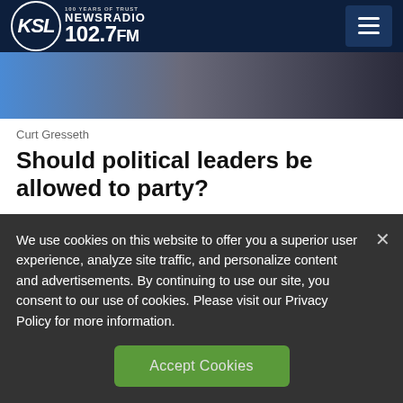KSL NewsRadio 102.7FM
[Figure (photo): Partial photo of two people, one in a blue outfit and one in a dark suit, cropped at the top of the page.]
Curt Gresseth
Should political leaders be allowed to party?
We use cookies on this website to offer you a superior user experience, analyze site traffic, and personalize content and advertisements. By continuing to use our site, you consent to our use of cookies. Please visit our Privacy Policy for more information.
Accept Cookies